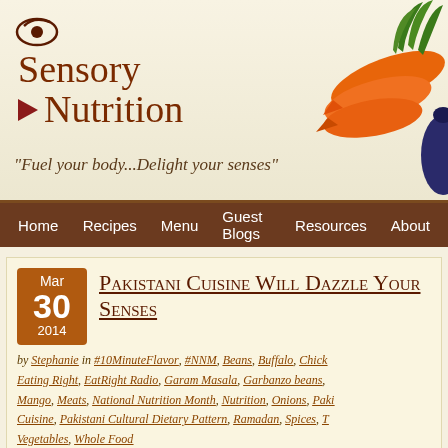[Figure (logo): Sensory Nutrition website logo with eye icon, arrow icon, and text 'Sensory Nutrition', with carrots and eggplant image on right]
"Fuel your body...Delight your senses"
Home   Recipes   Menu   Guest Blogs   Resources   About
Pakistani Cuisine Will Dazzle Your Senses
by Stephanie in #10MinuteFlavor, #NNM, Beans, Buffalo, Chick, Eating Right, EatRight Radio, Garam Masala, Garbanzo beans, Mango, Meats, National Nutrition Month, Nutrition, Onions, Pakistani Cuisine, Pakistani Cultural Dietary Pattern, Ramadan, Spices, Vegetables, Whole Food
I'm Blogging National Nutrition Month
Pakistani cuisine which dazzle your senses is